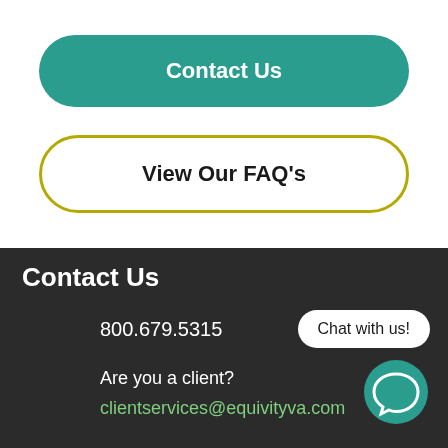Contact Us
View Our FAQ's
Contact Us
800.679.5315
Chat with us!
Are you a client?
clientservices@equivityva.com